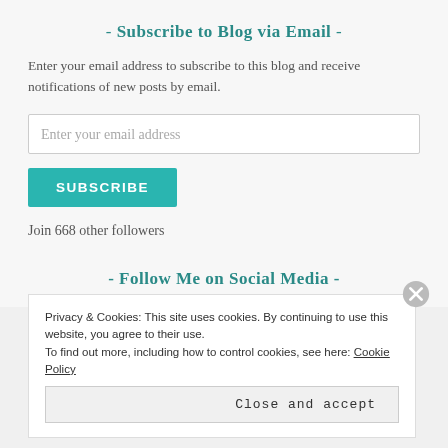- Subscribe to Blog via Email -
Enter your email address to subscribe to this blog and receive notifications of new posts by email.
Enter your email address
SUBSCRIBE
Join 668 other followers
- Follow Me on Social Media -
Privacy & Cookies: This site uses cookies. By continuing to use this website, you agree to their use. To find out more, including how to control cookies, see here: Cookie Policy
Close and accept